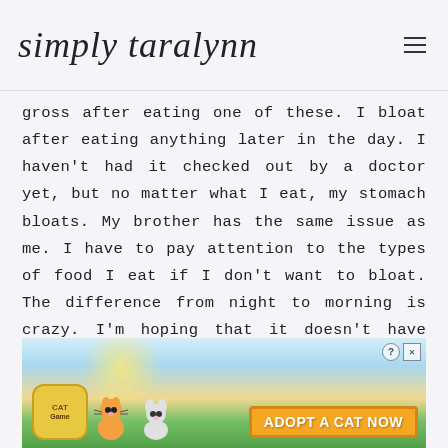simply taralynn
gross after eating one of these. I bloat after eating anything later in the day. I haven't had it checked out by a doctor yet, but no matter what I eat, my stomach bloats. My brother has the same issue as me. I have to pay attention to the types of food I eat if I don't want to bloat. The difference from night to morning is crazy. I'm hoping that it doesn't have anything to do with dairy or gluten. I need to stop reading up on it and just go to a doctor.
[Figure (photo): Partially visible advertisement banner for 'Cat Game' featuring cartoon cats, a colorful scene, and a button reading 'ADOPT A CAT NOW']